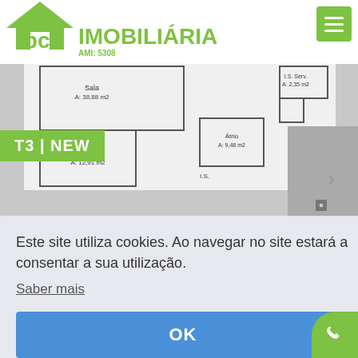[Figure (logo): IBC Imobiliária logo with green house icon and text, AMI 5308]
[Figure (screenshot): Floor plan screenshot showing apartment layout with rooms labeled: Sala A: 38.88m2, I.S. Serv. A: 2.35m2, Átrio A: 9.48m2, Quarto A: 12.91m2, I.S., T3 NEW badge in green]
Este site utiliza cookies. Ao navegar no site estará a consentar a sua utilização.
Saber mais
OK